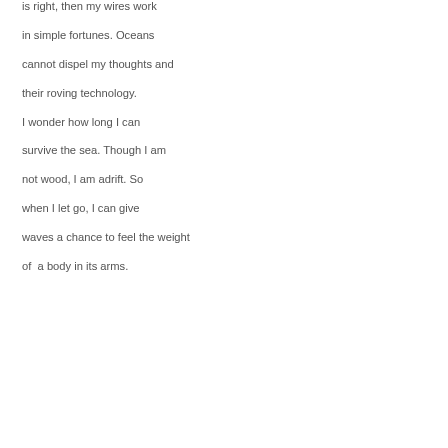is right, then my wires work

in simple fortunes. Oceans

cannot dispel my thoughts and

their roving technology.

I wonder how long I can

survive the sea. Though I am

not wood, I am adrift. So

when I let go, I can give

waves a chance to feel the weight

of  a body in its arms.